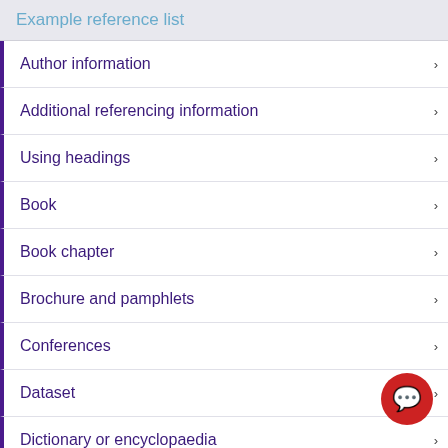Example reference list
Author information
Additional referencing information
Using headings
Book
Book chapter
Brochure and pamphlets
Conferences
Dataset
Dictionary or encyclopaedia